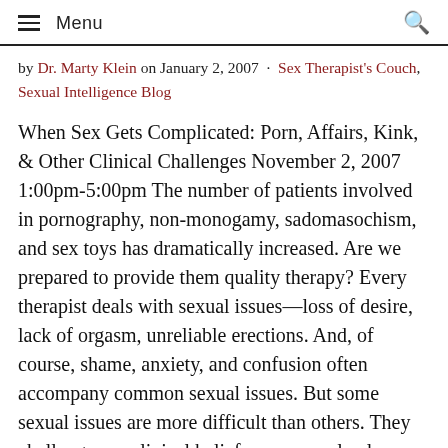Menu
by Dr. Marty Klein on January 2, 2007 · Sex Therapist's Couch, Sexual Intelligence Blog
When Sex Gets Complicated: Porn, Affairs, Kink, & Other Clinical Challenges November 2, 2007 1:00pm-5:00pm The number of patients involved in pornography, non-monogamy, sadomasochism, and sex toys has dramatically increased. Are we prepared to provide them quality therapy? Every therapist deals with sexual issues—loss of desire, lack of orgasm, unreliable erections. And, of course, shame, anxiety, and confusion often accompany common sexual issues. But some sexual issues are more difficult than others. They challenge our clinical beliefs or personal values. Perhaps